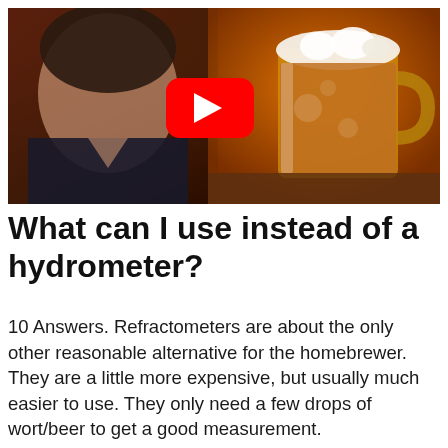[Figure (screenshot): YouTube video thumbnail showing a woman making a disgusted face on the left and a large glass beer mug filled with amber beer on the right, with a red YouTube play button in the center, against a warm orange-brown background.]
What can I use instead of a hydrometer?
10 Answers. Refractometers are about the only other reasonable alternative for the homebrewer. They are a little more expensive, but usually much easier to use. They only need a few drops of wort/beer to get a good measurement.